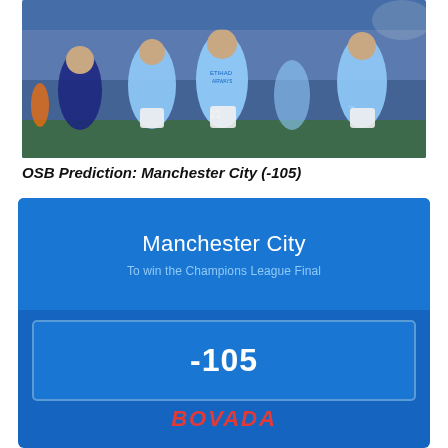[Figure (photo): Manchester City players in light blue jerseys celebrating on a football pitch, with a Chelsea player in dark blue in the background.]
OSB Prediction: Manchester City (-105)
Manchester City
To win the Champions League Final
-105
BOVADA